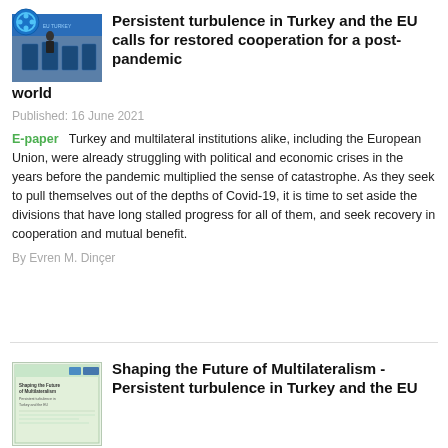[Figure (photo): Small circular logo (blue/green) in top left corner]
Persistent turbulence in Turkey and the EU calls for restored cooperation for a post-pandemic world
Published: 16 June 2021
E-paper   Turkey and multilateral institutions alike, including the European Union, were already struggling with political and economic crises in the years before the pandemic multiplied the sense of catastrophe. As they seek to pull themselves out of the depths of Covid-19, it is time to set aside the divisions that have long stalled progress for all of them, and seek recovery in cooperation and mutual benefit.
By Evren M. Dinçer
[Figure (photo): Book cover for 'Shaping the Future of Multilateralism - Persistent turbulence in Turkey and the EU']
Shaping the Future of Multilateralism - Persistent turbulence in Turkey and the EU